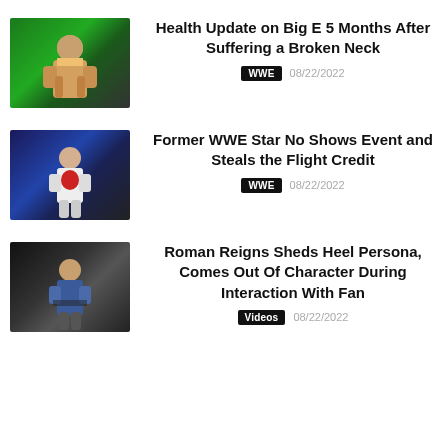[Figure (photo): Big E wrestler photo with green stage lighting background]
Health Update on Big E 5 Months After Suffering a Broken Neck
WWE   08/22/2022
[Figure (photo): Former WWE star standing in ring with blue lighting]
Former WWE Star No Shows Event and Steals the Flight Credit
WWE   08/22/2022
[Figure (photo): Roman Reigns at ring side with dark background]
Roman Reigns Sheds Heel Persona, Comes Out Of Character During Interaction With Fan
Videos   08/22/2022